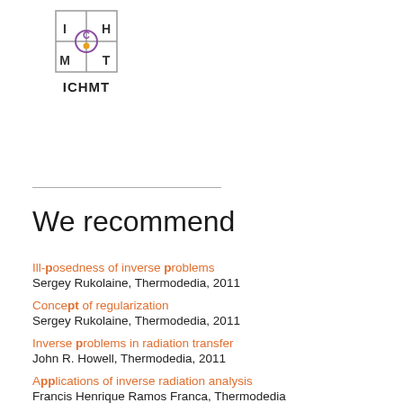[Figure (logo): ICHMT logo: square with I, H, M, T letters and a circular C with orange/purple colors in center]
ICHMT
We recommend
Ill-posedness of inverse problems
Sergey Rukolaine, Thermodedia, 2011
Concept of regularization
Sergey Rukolaine, Thermodedia, 2011
Inverse problems in radiation transfer
John R. Howell, Thermodedia, 2011
Applications of inverse radiation analysis
Francis Henrique Ramos Franca, Thermodedia